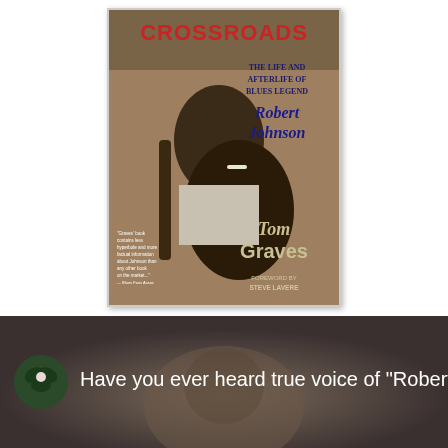[Figure (photo): Book cover of 'Crossroads: The Life and Afterlife of Blues Legend Robert Johnson' by Tom Graves, foreword by Steve LaVere. Shows a sepia-toned photo of Robert Johnson playing guitar with a cigarette in his mouth. Title in red/blue stencil lettering at top.]
[Figure (screenshot): Video thumbnail with dark blurred background showing a face. Green avatar/profile circle icon on left. White text reads: Have you ever heard true voice of 'Robert Johns...']